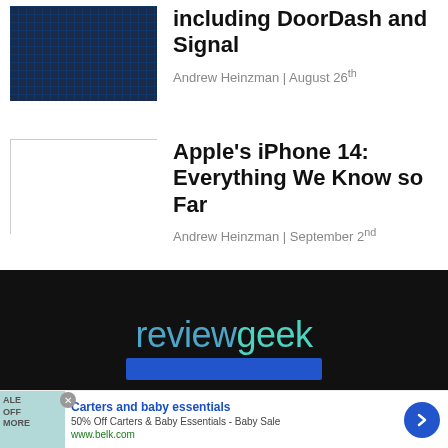[Figure (screenshot): Dark blue grid/pattern thumbnail image for article about data breaches]
including DoorDash and Signal
Andrew Heinzman | August 26th
[Figure (photo): Empty white placeholder thumbnail with gray border]
Apple's iPhone 14: Everything We Know so Far
Andrew Heinzman | September 2nd
[Figure (logo): Review Geek logo on black background — 'review' in blue, 'geek' in teal/cyan]
[Figure (screenshot): Advertisement: Carters and baby essentials — 50% Off Carters & Baby Essentials - Baby Sale, www.belk.com]